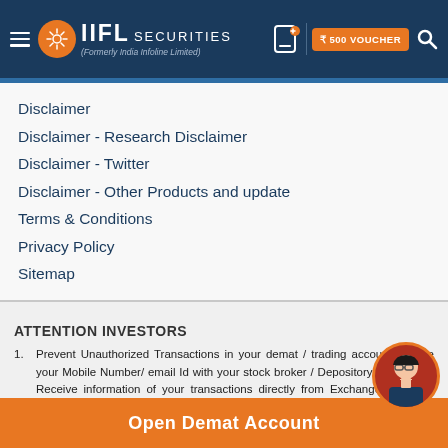[Figure (logo): IIFL Securities logo with hamburger menu on dark blue header bar, phone icon, ₹500 voucher orange button, and search icon]
Disclaimer
Disclaimer - Research Disclaimer
Disclaimer - Twitter
Disclaimer - Other Products and update
Terms & Conditions
Privacy Policy
Sitemap
ATTENTION INVESTORS
Prevent Unauthorized Transactions in your demat / trading account Update your Mobile Number/ email Id with your stock broker / Depository Participant. Receive information of your transactions directly from Exchanges on your mobile / email at the end of day and alerts on your registered mobile for all debits and other important transactions in your demat account directly from NSDL/ CDSL on the same day.
Open Demat Account